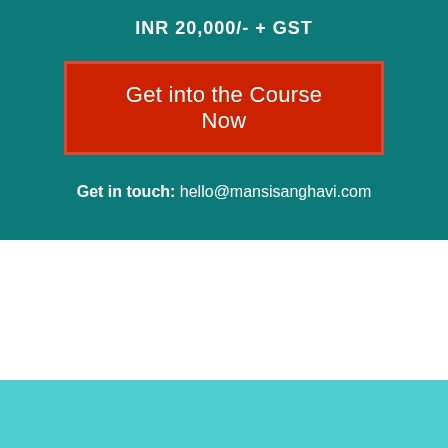INR 20,000/- + GST
Get into the Course Now
Get in touch: hello@mansisanghavi.com